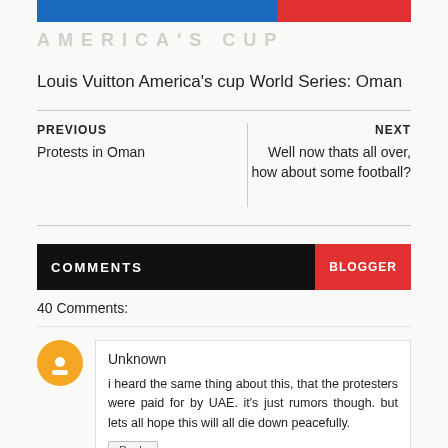[Figure (other): Partial view of a blue and red horizontal bar graphic with faded text below, part of a blog post header image for Louis Vuitton America's cup World Series: Oman]
Louis Vuitton America's cup World Series: Oman
PREVIOUS
Protests in Oman
NEXT
Well now thats all over, how about some football?
COMMENTS
40 Comments:
Unknown
i heard the same thing about this, that the protesters were paid for by UAE. it's just rumors though. but lets all hope this will all die down peacefully.